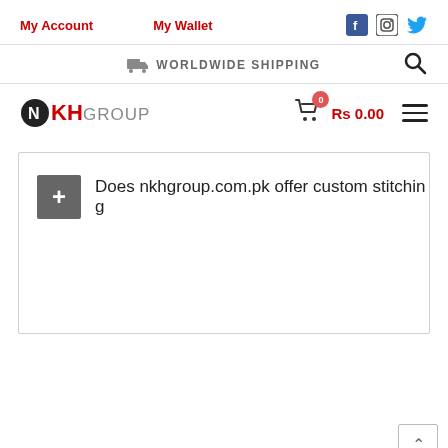My Account   My Wallet
🚚 WORLDWIDE SHIPPING
[Figure (logo): NKH Group logo with cart showing Rs 0.00 and hamburger menu]
Does nkhgroup.com.pk offer custom stitching